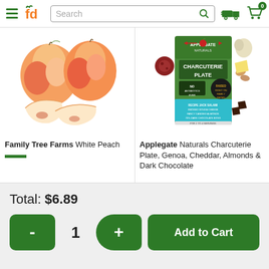fd - Search bar with magnifier, delivery truck icon, cart icon with 0 items
[Figure (photo): White peach product photo showing two whole peaches and two peach slices on white background]
[Figure (photo): Applegate Naturals Charcuterie Plate product package photo]
Family Tree Farms White Peach
Applegate Naturals Charcuterie Plate, Genoa, Cheddar, Almonds & Dark Chocolate
Total: $6.89
- 1 + Add to Cart